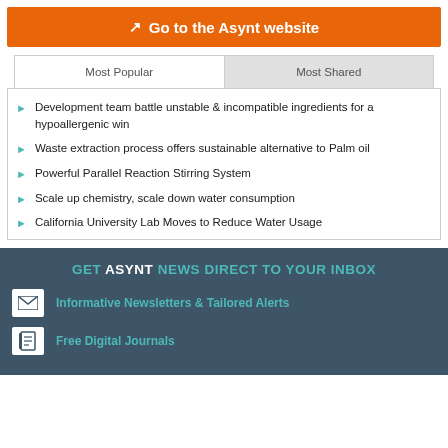↗ Go to the Asynt website
Most Popular | Most Shared
Development team battle unstable & incompatible ingredients for a hypoallergenic win
Waste extraction process offers sustainable alternative to Palm oil
Powerful Parallel Reaction Stirring System
Scale up chemistry, scale down water consumption
California University Lab Moves to Reduce Water Usage
GET ASYNT NEWS DIRECT TO YOUR INBOX
Informative Newsletters & Tailored Alerts
Free Digital Journals